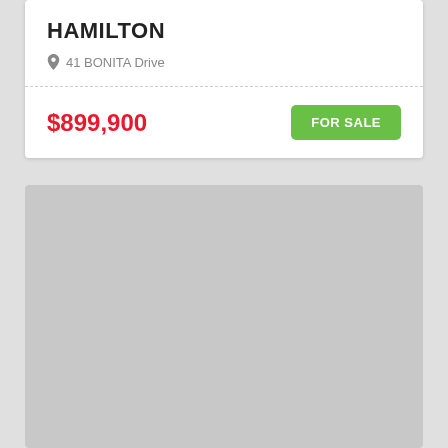HAMILTON
41 BONITA Drive
$899,900
FOR SALE
[Figure (map): Gray placeholder map area below the property listing card]